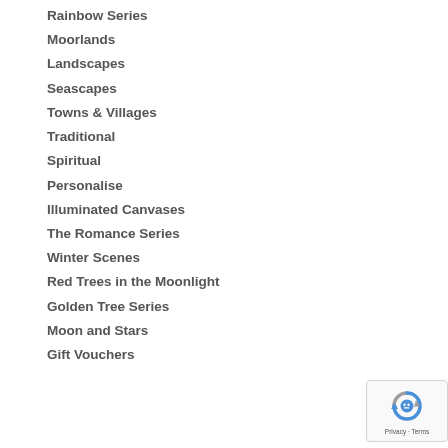Rainbow Series
Moorlands
Landscapes
Seascapes
Towns & Villages
Traditional
Spiritual
Personalise
Illuminated Canvases
The Romance Series
Winter Scenes
Red Trees in the Moonlight
Golden Tree Series
Moon and Stars
Gift Vouchers
[Figure (logo): Google reCAPTCHA badge with blue/grey robot icon and Privacy/Terms text]